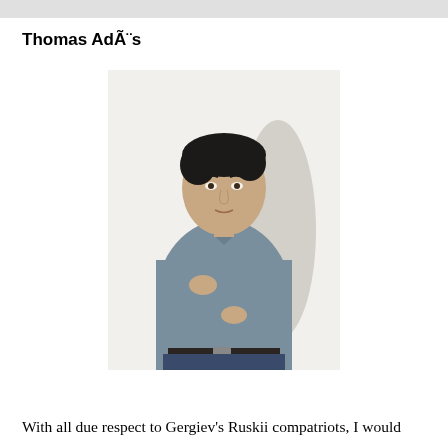Thomas AdÃ¨s
[Figure (photo): Portrait photograph of a young man with dark hair wearing a grey-blue long-sleeve shirt with arms crossed, standing against a light background with a shadow behind him.]
With all due respect to Gergiev's Ruskii compatriots, I would